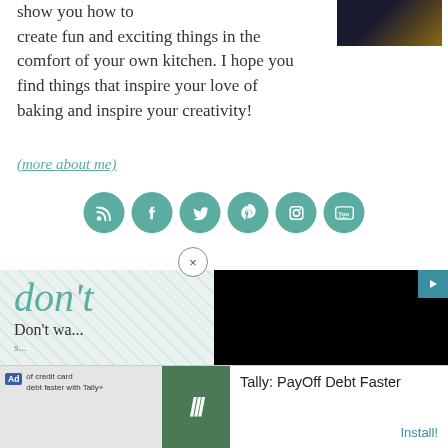show you how to create fun and exciting things in the comfort of your own kitchen. I hope you find things that inspire your love of baking and inspire your creativity!
(more about me)
[Figure (other): Social media icon buttons: RSS, Facebook, Twitter, Pinterest, Instagram, YouTube — teal circular icons]
[Figure (other): Close (×) button circle]
don't
Don't wa...
enter ema...
[Figure (screenshot): Black video player overlay in the right portion of the page]
[Figure (other): Advertisement banner: Tally PayOff Debt Faster app ad with Install button]